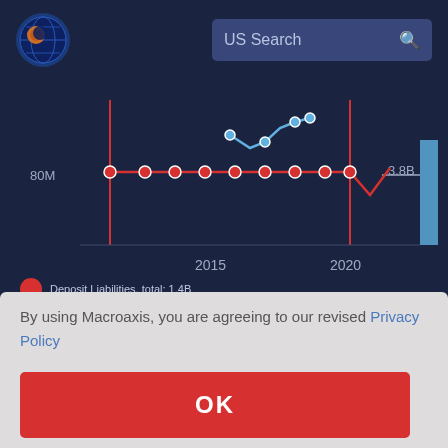[Figure (screenshot): Macroaxis website header with logo and US Search bar on dark navy background]
[Figure (line-chart): Line chart showing financial data around 80M level from approximately 2010 to 2022, with red line showing flat trend and blue line showing uptick. Y-axis label 3.8B visible on right. X-axis shows years 2015 and 2020.]
Deposit Liabilities, total: 1.4B
By using Macroaxis, you are agreeing to our revised Privacy Policy
OK
ation